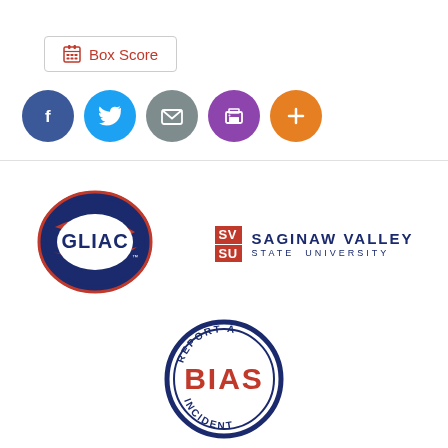[Figure (other): Box Score button with clipboard icon]
[Figure (other): Social sharing icons: Facebook (blue), Twitter (light blue), Email (gray), Print (purple), Add/Plus (orange)]
[Figure (logo): GLIAC logo - oval shaped with blue border, red and white design, GLIAC text]
[Figure (logo): Saginaw Valley State University logo - SVSU red squares with SV and SU text, navy blue SAGINAW VALLEY STATE UNIVERSITY text]
[Figure (logo): Report a Bias Incident circular badge logo - blue border, red BIAS text in center]
[Figure (logo): PrestoSports logo - PRESTO in dark text, SPORTS in white on red background]